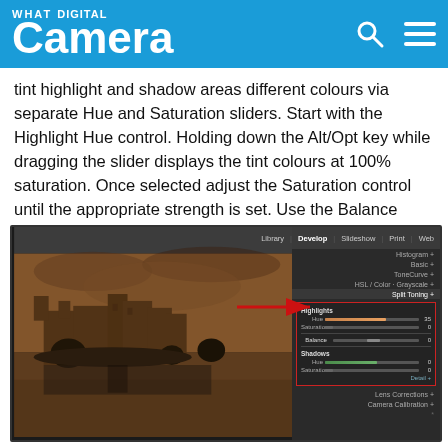WHAT DIGITAL Camera
tint highlight and shadow areas different colours via separate Hue and Saturation sliders. Start with the Highlight Hue control. Holding down the Alt/Opt key while dragging the slider displays the tint colours at 100% saturation. Once selected adjust the Saturation control until the appropriate strength is set. Use the Balance slider to alter the ratio of highlight to shadow tint.
[Figure (screenshot): Lightroom Develop module screenshot showing a sepia-toned castle photograph alongside the Split Toning panel with Highlights Hue and Saturation sliders and Shadows Hue and Saturation sliders. A red arrow and red rectangle highlight the Split Toning panel on the right side.]